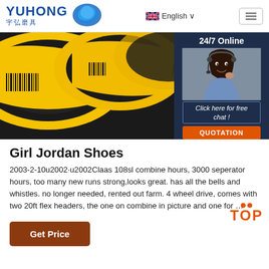YUHONG 宇弘磨具 | English | Menu
[Figure (photo): Grinding/flap discs with yellow and black labels, product photo. On the right side, a dark navy panel shows '24/7 Online' with a customer service representative wearing a headset, and a 'Click here for free chat!' button with 'QUOTATION' button below.]
Girl Jordan Shoes
2003-2-10u2002·u2002Claas 108sl combine hours, 3000 seperator hours, too many new runs strong,looks great. has all the bells and whistles. no longer needed, rented out farm. 4 wheel drive, comes with two 20ft flex headers, the one on combine in picture and one for …
[Figure (other): TOP badge with orange dots and orange TOP text]
Get Price